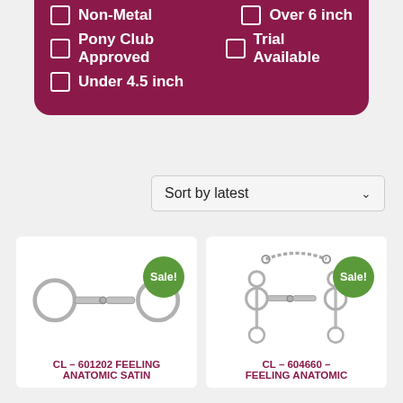Non-Metal
Over 6 inch
Pony Club Approved
Trial Available
Under 4.5 inch
Sort by latest
[Figure (photo): Horse bit - CL-601202 FEELING ANATOMIC SATIN, shown with Sale! badge]
CL – 601202 FEELING ANATOMIC SATIN
[Figure (photo): Horse bit with curb chain - CL-604660 FEELING ANATOMIC, shown with Sale! badge]
CL – 604660 – FEELING ANATOMIC